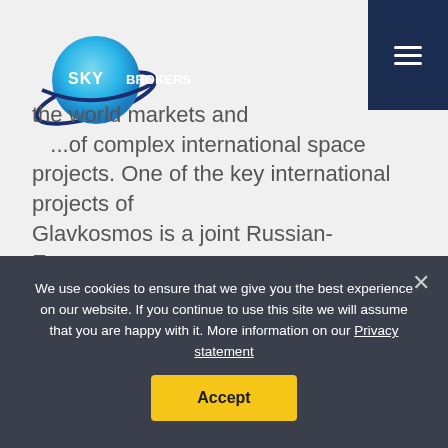[Figure (logo): Sky Brokers logo with globe and rings]
the world markets and ...of complex international space projects. One of the key international projects of Glavkosmos is a joint Russian-European program Soyuz at the Guiana Space Centre, where Glavkosmos is the main contract integrator for all the Russian rocket and space industry entities involved.
Glavkosmos coordinates with launch operator Arianespace all phases, while Arianespace is
We use cookies to ensure that we give you the best experience on our website. If you continue to use this site we will assume that you are happy with it. More information on our Privacy statement
Accept